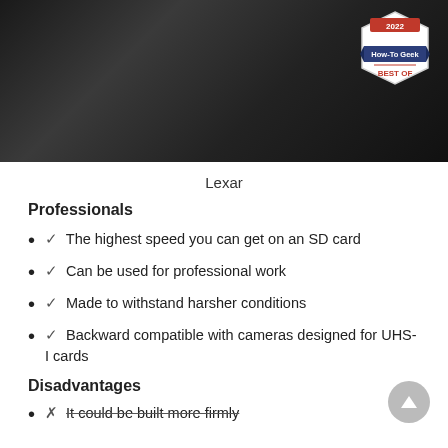[Figure (photo): Dark-toned camera/SD card equipment photo with a 2022 How-To Geek Best Of hexagonal badge in the top right corner]
Lexar
Professionals
✓ The highest speed you can get on an SD card
✓ Can be used for professional work
✓ Made to withstand harsher conditions
✓ Backward compatible with cameras designed for UHS-I cards
Disadvantages
✗ It could be built more firmly